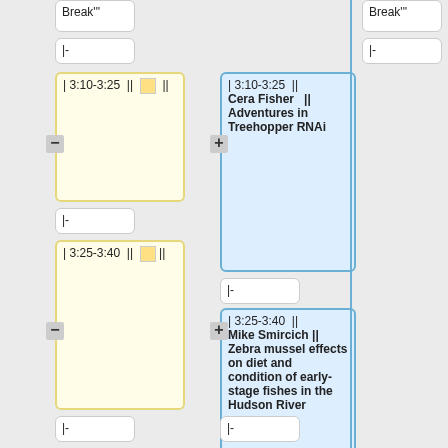Break'"
Break'"
|-
|-
| 3:10-3:25 || [yellow square] ||
| 3:10-3:25 || Cera Fisher || Adventures in Treehopper RNAi
|-
|-
| 3:25-3:40 || [yellow square] ||
| 3:25-3:40 || Mike Smircich || Zebra mussel effects on diet and condition of early-stage fishes in the Hudson River
|-
|-
!style="background: nd:#efefef;" |
!style="background: nd:#efefef;" |